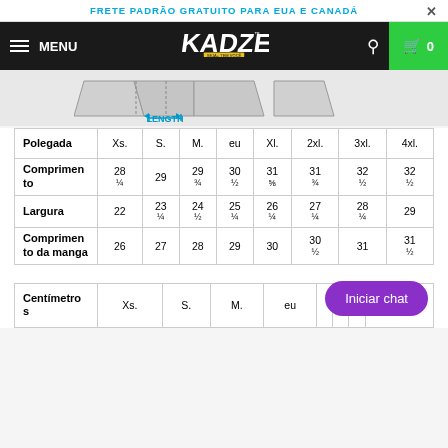FRETE PADRÃO GRATUITO PARA EUA E CANADÁ
[Figure (screenshot): Navigation bar with hamburger menu, MENU text, Kadzers logo, search icon, and green cart button showing 0]
[Figure (illustration): Shirt length diagram showing measurement arrows with LENGTH label]
| Polegada | Xs. | S. | M. | eu | Xl. | 2xl. | 3xl. | 4xl. |
| --- | --- | --- | --- | --- | --- | --- | --- | --- |
| Comprimento | 28 ¼ | 29 | 29 ¾ | 30 ½ | 31 ⅝ | 31 ¾ | 32 ½ | 32 ½ |
| Largura | 22 | 23 ¼ | 24 ½ | 25 ¼ | 26 ¼ | 27 ¼ | 28 ¼ | 29 |
| Comprimento da manga | 26 | 27 | 28 | 29 | 30 | 30 ½ | 31 | 31 ½ |
| Centímetros | Xs. | S. | M. | eu | Xl. | 2xl. | 3xl. | 4xl. |
| --- | --- | --- | --- | --- | --- | --- | --- | --- |